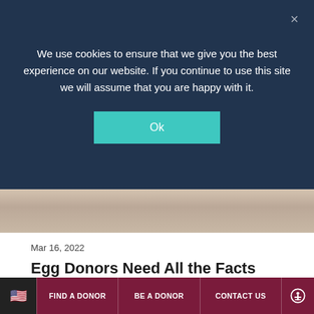We use cookies to ensure that we give you the best experience on our website. If you continue to use this site we will assume that you are happy with it.
Ok
[Figure (photo): Partial view of a person in a blurred background, photo strip visible between the cookie overlay and article content]
Mar 16, 2022
Egg Donors Need All the Facts About Egg Donation
Fairfax EggBank ensures our donors have comprehensive information about the implications egg donation will have on their lives Fairfax EggBank recognizes that many stakeholders in the assisted reproduction
FIND A DONOR   BE A DONOR   CONTACT US